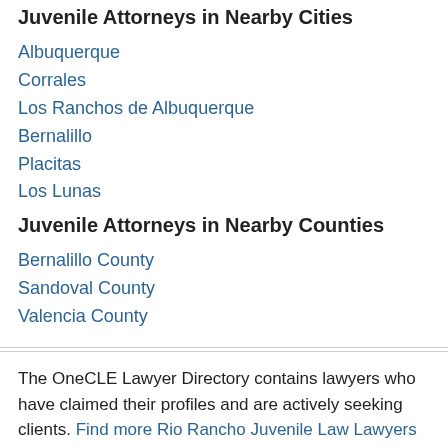Juvenile Attorneys in Nearby Cities
Albuquerque
Corrales
Los Ranchos de Albuquerque
Bernalillo
Placitas
Los Lunas
Juvenile Attorneys in Nearby Counties
Bernalillo County
Sandoval County
Valencia County
The OneCLE Lawyer Directory contains lawyers who have claimed their profiles and are actively seeking clients. Find more Rio Rancho Juvenile Law Lawyers in the Justia Legal Services and Lawyers Directory, which includes...